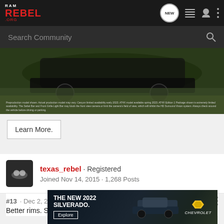Ram Rebel .org — Navigation bar with NEW, list, user, and menu icons
Search Community
[Figure (photo): Vehicle (truck) photographed in a field of tall grass, dark background. Fine print disclaimer text at bottom of image.]
Learn More.
texas_rebel · Registered
Joined Nov 14, 2015 · 1,268 Posts
#13 · Dec 2, 2015
Better rims. Sorry these look like after thoughts to me.
[Figure (advertisement): THE NEW 2022 SILVERADO. Chevrolet advertisement banner with Explore button and Chevy logo.]